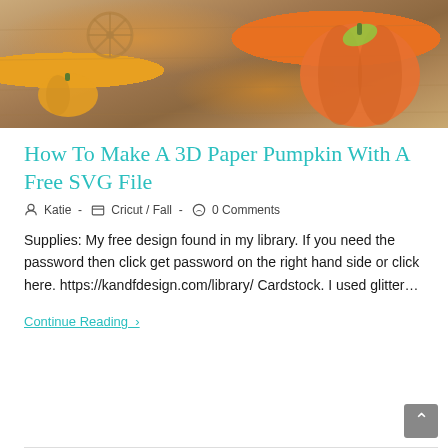[Figure (photo): Photo of 3D paper pumpkin craft on wooden surface with small orange pumpkin and wagon wheel visible]
How To Make A 3D Paper Pumpkin With A Free SVG File
Katie  -  Cricut / Fall  -  0 Comments
Supplies: My free design found in my library. If you need the password then click get password on the right hand side or click here. https://kandfdesign.com/library/ Cardstock. I used glitter…
Continue Reading ›